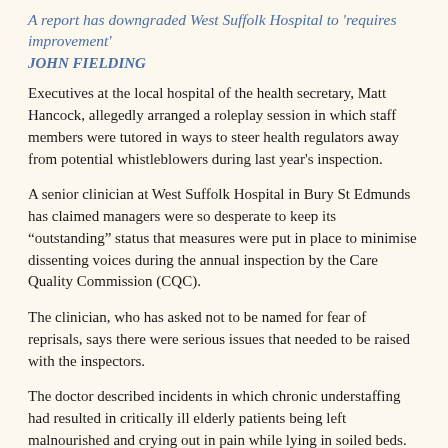A report has downgraded West Suffolk Hospital to 'requires improvement'
JOHN FIELDING
Executives at the local hospital of the health secretary, Matt Hancock, allegedly arranged a roleplay session in which staff members were tutored in ways to steer health regulators away from potential whistleblowers during last year's inspection.
A senior clinician at West Suffolk Hospital in Bury St Edmunds has claimed managers were so desperate to keep its “outstanding” status that measures were put in place to minimise dissenting voices during the annual inspection by the Care Quality Commission (CQC).
The clinician, who has asked not to be named for fear of reprisals, says there were serious issues that needed to be raised with the inspectors.
The doctor described incidents in which chronic understaffing had resulted in critically ill elderly patients being left malnourished and crying out in pain while lying in soiled beds.
A number of doctors have also claimed that a “bullying” management culture has led to staff being too afraid to speak up about patient safety